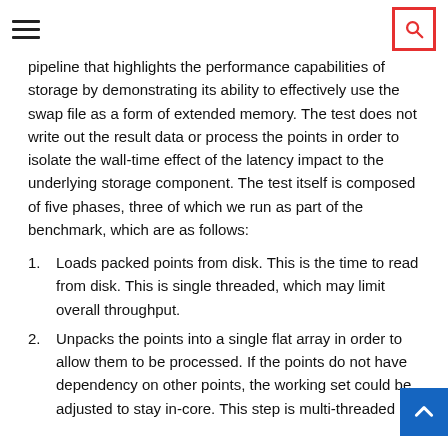[hamburger menu icon] [search icon]
pipeline that highlights the performance capabilities of storage by demonstrating its ability to effectively use the swap file as a form of extended memory. The test does not write out the result data or process the points in order to isolate the wall-time effect of the latency impact to the underlying storage component. The test itself is composed of five phases, three of which we run as part of the benchmark, which are as follows:
Loads packed points from disk. This is the time to read from disk. This is single threaded, which may limit overall throughput.
Unpacks the points into a single flat array in order to allow them to be processed. If the points do not have dependency on other points, the working set could be adjusted to stay in-core. This step is multi-threaded